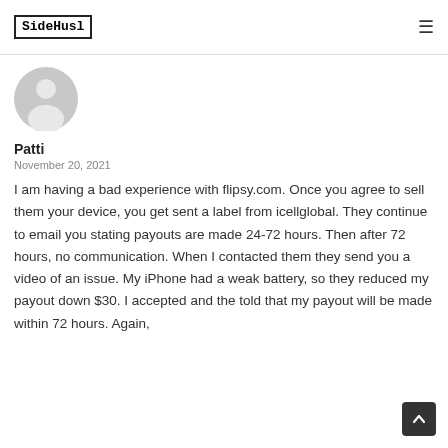SideHusl
[Figure (illustration): Generic user avatar icon — grey circle with person silhouette]
Patti
November 20, 2021
I am having a bad experience with flipsy.com. Once you agree to sell them your device, you get sent a label from icellglobal. They continue to email you stating payouts are made 24-72 hours. Then after 72 hours, no communication. When I contacted them they send you a video of an issue. My iPhone had a weak battery, so they reduced my payout down $30. I accepted and the told that my payout will be made within 72 hours. Again,